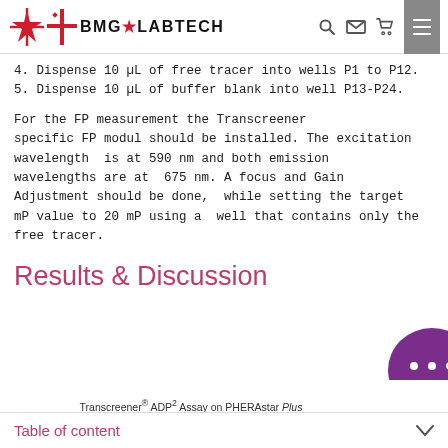BMG LABTECH
4. Dispense 10 µL of free tracer into wells P1 to P12.
5. Dispense 10 µL of buffer blank into well P13-P24.
For the FP measurement the Transcreener specific FP modul should be installed. The excitation wavelength  is at 590 nm and both emission wavelengths are at  675 nm. A focus and Gain Adjustment should be done,  while setting the target mP value to 20 mP using a  well that contains only the free tracer.
Results & Discussion
Transcreener® ADP² Assay on PHERAstar Plus
Table of content